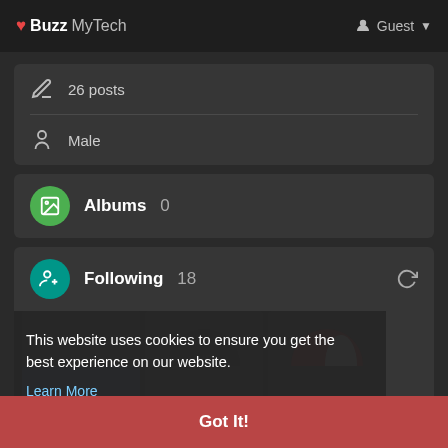❤ Buzz MyTech  Guest
26 posts
Male
Albums 0
Following 18
[Figure (screenshot): Grid of following user thumbnails including a BID DETAIL watermarked image and a red circular logo]
This website uses cookies to ensure you get the best experience on our website. Learn More
Got It!